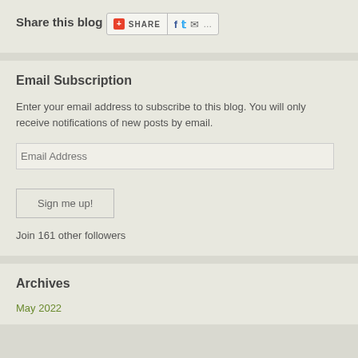Share this blog
[Figure (screenshot): Share widget with red plus button, SHARE text, Facebook, Twitter, email icons and ellipsis]
Email Subscription
Enter your email address to subscribe to this blog. You will only receive notifications of new posts by email.
Email Address
Sign me up!
Join 161 other followers
Archives
May 2022